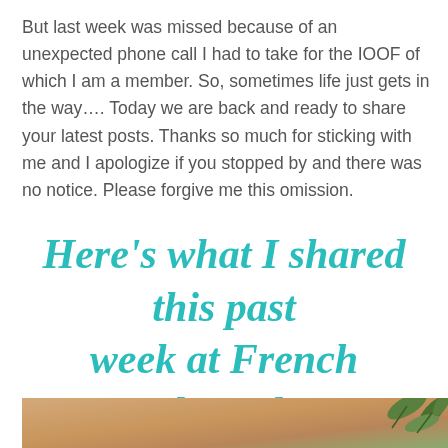But last week was missed because of an unexpected phone call I had to take for the IOOF of which I am a member. So, sometimes life just gets in the way…. Today we are back and ready to share your latest posts. Thanks so much for sticking with me and I apologize if you stopped by and there was no notice. Please forgive me this omission.
Here's what I shared this past week at French Ethereal...
[Figure (photo): A blurred background photo showing warm beige/tan tones with green plant leaves visible in the upper right, appears to be a lifestyle/decor photo]